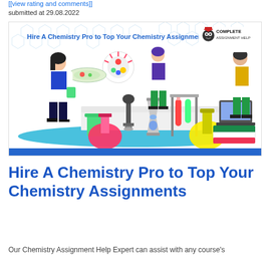[[view rating and comments]]
submitted at 29.08.2022
[Figure (illustration): Promotional banner for Complete Assignment Help showing cartoon scientists at a lab bench with chemistry equipment (beakers, flasks, microscope, hourglass, test tubes, laptop). Text reads 'Hire A Chemistry Pro to Top Your Chemistry Assignments' with the Complete Assignment Help owl logo. Blue hexagon molecular pattern in background. Blue banner strip at bottom.]
Hire A Chemistry Pro to Top Your Chemistry Assignments
Our Chemistry Assignment Help Expert can assist with any course's